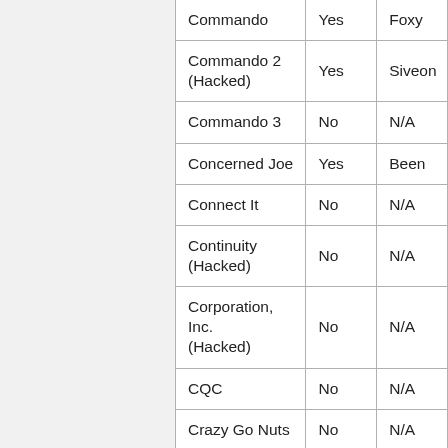| Commando | Yes | Foxy |
| Commando 2 (Hacked) | Yes | Siveon |
| Commando 3 | No | N/A |
| Concerned Joe | Yes | Been |
| Connect It | No | N/A |
| Continuity (Hacked) | No | N/A |
| Corporation, Inc. (Hacked) | No | N/A |
| CQC | No | N/A |
| Crazy Go Nuts | No | N/A |
| Creeper World: Evermore | No | N/A |
| Crimson Room | No | N/A |